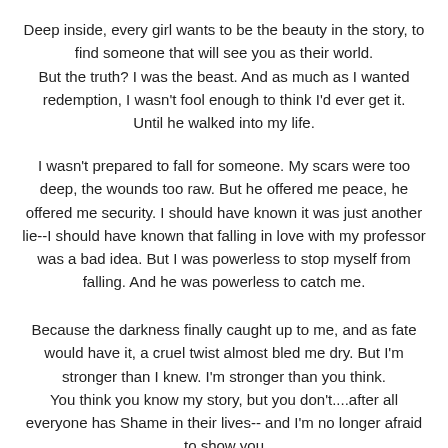Deep inside, every girl wants to be the beauty in the story, to find someone that will see you as their world. But the truth? I was the beast. And as much as I wanted redemption, I wasn't fool enough to think I'd ever get it. Until he walked into my life.
I wasn't prepared to fall for someone. My scars were too deep, the wounds too raw. But he offered me peace, he offered me security. I should have known it was just another lie--I should have known that falling in love with my professor was a bad idea. But I was powerless to stop myself from falling. And he was powerless to catch me.
Because the darkness finally caught up to me, and as fate would have it, a cruel twist almost bled me dry. But I'm stronger than I knew. I'm stronger than you think. You think you know my story, but you don't....after all everyone has Shame in their lives-- and I'm no longer afraid to show you